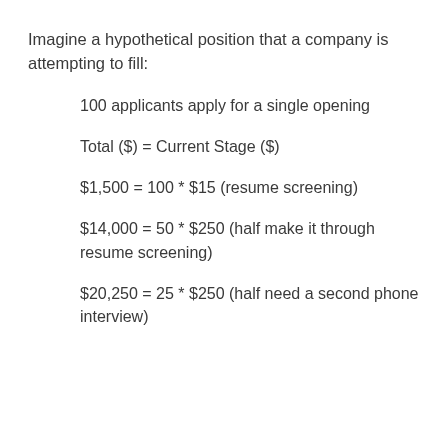Imagine a hypothetical position that a company is attempting to fill:
100 applicants apply for a single opening
Total ($) = Current Stage ($)
$1,500 = 100 * $15 (resume screening)
$14,000 = 50 * $250 (half make it through resume screening)
$20,250 = 25 * $250 (half need a second phone interview)